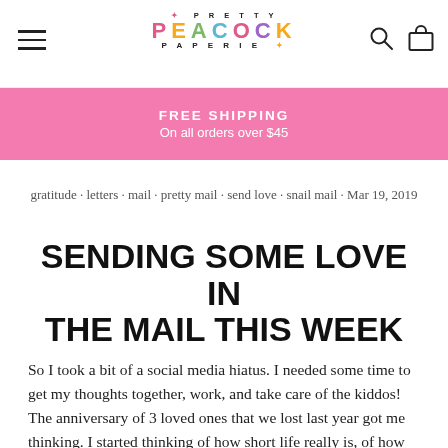PRETTY PEACOCK PAPERIE
FREE SHIPPING
On all orders over $45
gratitude · letters · mail · pretty mail · send love · snail mail · Mar 19, 2019
SENDING SOME LOVE IN THE MAIL THIS WEEK
So I took a bit of a social media hiatus. I needed some time to get my thoughts together, work, and take care of the kiddos! The anniversary of 3 loved ones that we lost last year got me thinking. I started thinking of how short life really is, of how wrapped up in ourselves we really get and that the true meaning